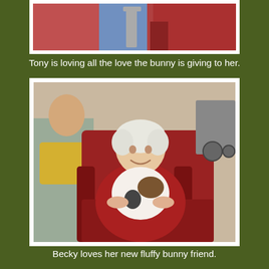[Figure (photo): Top portion of a photo showing elderly person in a chair, partially cropped at top of page]
Tony is loving all the love the bunny is giving to her.
[Figure (photo): Elderly woman in red cardigan sitting in a red armchair, holding and cuddling a white and brown bunny rabbit. Another person visible in background on left, yellow pillow on chair.]
Becky loves her new fluffy bunny friend.
[Figure (photo): Elderly man with grey hair smiling, seated in a chair, visible from the waist up, partially cropped at bottom of page]